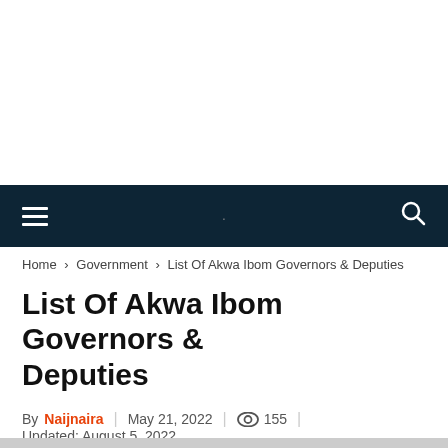Home › Government › List Of Akwa Ibom Governors & Deputies
List Of Akwa Ibom Governors & Deputies
By Naijnaira | May 21, 2022 | 155 | Updated: August 5, 2022